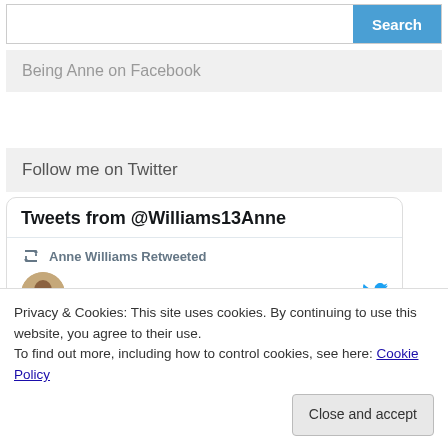[Figure (screenshot): Search bar with blue Search button on right]
Being Anne on Facebook
Follow me on Twitter
[Figure (screenshot): Twitter widget showing Tweets from @Williams13Anne, with Anne Williams Retweeted line, Erin Kelly #WatchHerFall tweet, and UK flag only, winner picked randomly text]
Privacy & Cookies: This site uses cookies. By continuing to use this website, you agree to their use.
To find out more, including how to control cookies, see here: Cookie Policy
Close and accept